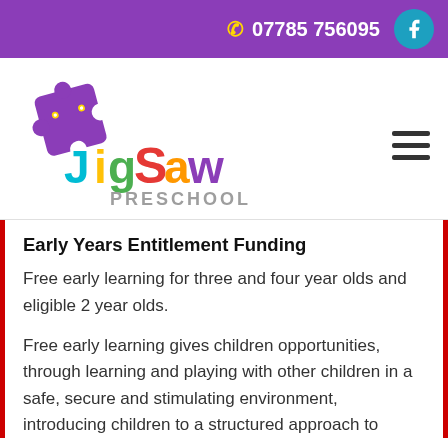07785 756095
[Figure (logo): Jigsaw Preschool logo with colourful puzzle piece and rainbow-coloured 'Jigsaw Preschool' text]
Early Years Entitlement Funding
Free early learning for three and four year olds and eligible 2 year olds.
Free early learning gives children opportunities, through learning and playing with other children in a safe, secure and stimulating environment, introducing children to a structured approach to